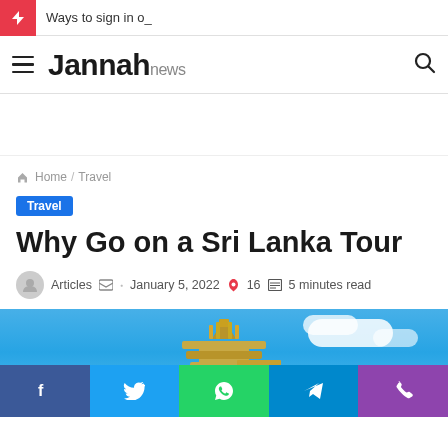Ways to sign in o_
[Figure (logo): Jannah news logo with hamburger menu and search icon]
Home / Travel
Travel
Why Go on a Sri Lanka Tour
Articles · January 5, 2022 · 16 · 5 minutes read
[Figure (photo): Sri Lanka temple tower (gopuram) against blue sky with clouds]